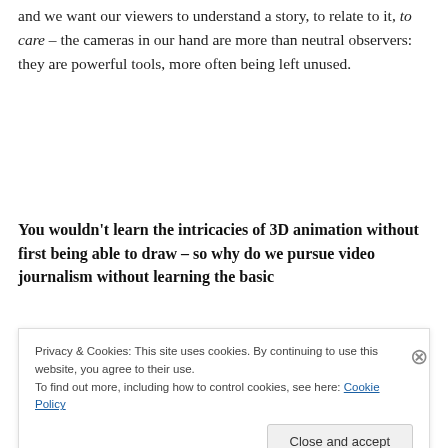and we want our viewers to understand a story, to relate to it, to care – the cameras in our hand are more than neutral observers: they are powerful tools, more often being left unused.
You wouldn't learn the intricacies of 3D animation without first being able to draw – so why do we pursue video journalism without learning the basic
Privacy & Cookies: This site uses cookies. By continuing to use this website, you agree to their use.
To find out more, including how to control cookies, see here: Cookie Policy